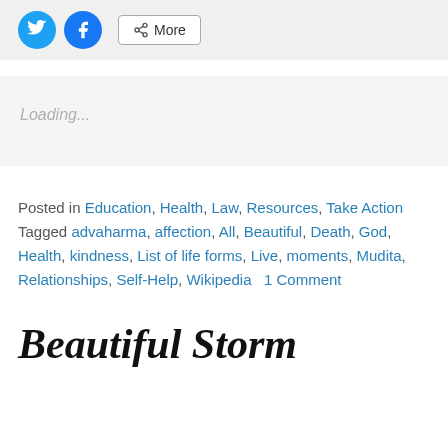[Figure (other): Social share buttons: Twitter (blue circle with bird icon), Facebook (blue circle with f icon), and a More button with share icon]
[Figure (other): Loading placeholder box with 'Loading...' text in light gray]
Posted in Education, Health, Law, Resources, Take Action   Tagged advaharma, affection, All, Beautiful, Death, God, Health, kindness, List of life forms, Live, moments, Mudita, Relationships, Self-Help, Wikipedia   1 Comment
Beautiful Storm